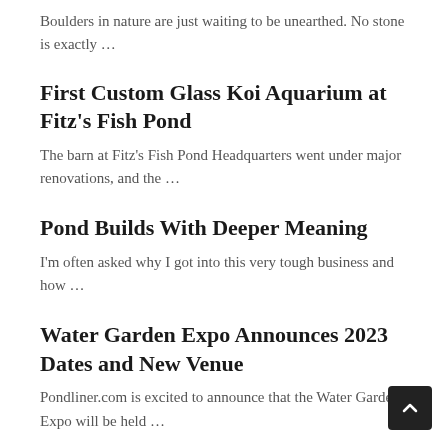Boulders in nature are just waiting to be unearthed. No stone is exactly …
First Custom Glass Koi Aquarium at Fitz's Fish Pond
The barn at Fitz's Fish Pond Headquarters went under major renovations, and the …
Pond Builds With Deeper Meaning
I'm often asked why I got into this very tough business and how …
Water Garden Expo Announces 2023 Dates and New Venue
Pondliner.com is excited to announce that the Water Garden Expo will be held …